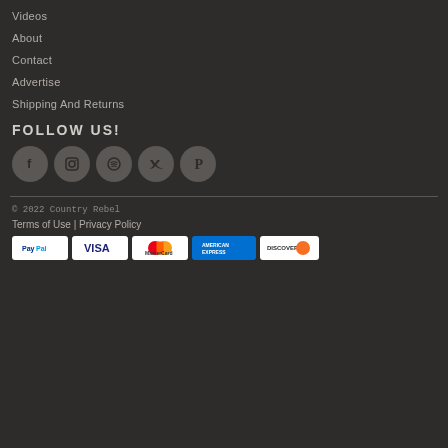Videos
About
Contact
Advertise
Shipping And Returns
FOLLOW US!
[Figure (other): Social media icon buttons: Facebook, Instagram, Spotify, Twitter, Pinterest]
© 2022 Country Rebel
Terms of Use | Privacy Policy
[Figure (other): Payment method logos: PayPal, VISA, MasterCard, American Express, Discover]